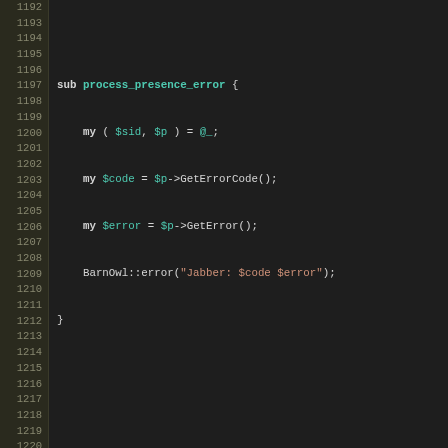[Figure (screenshot): Perl source code editor view showing lines 1192-1222, including sub process_presence_error and sub j2hash function definitions with syntax highlighting. Line numbers shown on left in beige/tan background, code on dark background.]